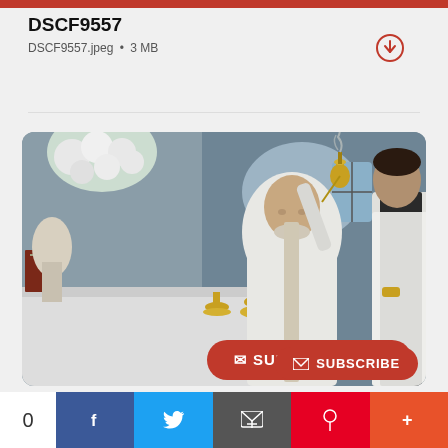DSCF9557
DSCF9557.jpeg • 3 MB
[Figure (photo): A Catholic priest in white vestments performing a religious ceremony, holding a golden thurible/incense burner above an altar with golden chalices and other sacred vessels. White flowers are visible in the background. A younger man in black and white vestments stands to the right. A stained glass window is visible in the background.]
✉ SUBSCRIBE
0
f
t
+